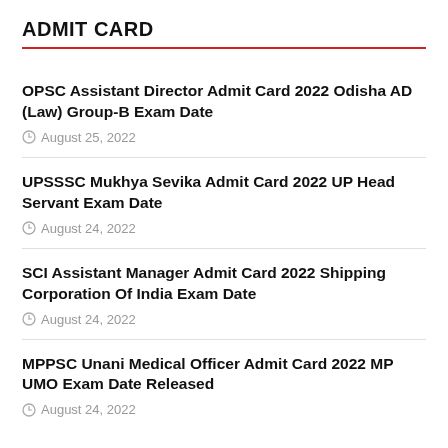ADMIT CARD
OPSC Assistant Director Admit Card 2022 Odisha AD (Law) Group-B Exam Date
August 25, 2022
UPSSSC Mukhya Sevika Admit Card 2022 UP Head Servant Exam Date
August 24, 2022
SCI Assistant Manager Admit Card 2022 Shipping Corporation Of India Exam Date
August 24, 2022
MPPSC Unani Medical Officer Admit Card 2022 MP UMO Exam Date Released
August 24, 2022